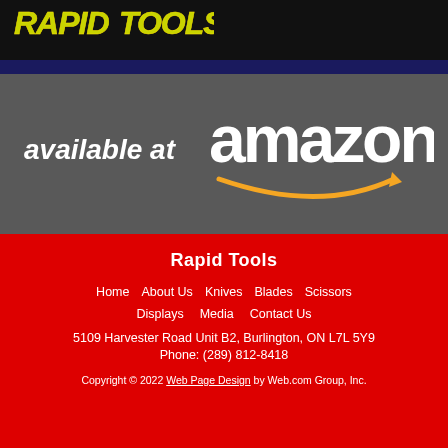[Figure (logo): Rapid Tools logo with yellow/green text on black background]
[Figure (infographic): Available at Amazon banner with white 'available at' text and Amazon logo with orange smile arrow on dark grey background]
Rapid Tools
Home
About Us
Knives
Blades
Scissors
Displays
Media
Contact Us
5109 Harvester Road Unit B2, Burlington, ON L7L 5Y9
Phone: (289) 812-8418
Copyright © 2022 Web Page Design by Web.com Group, Inc.